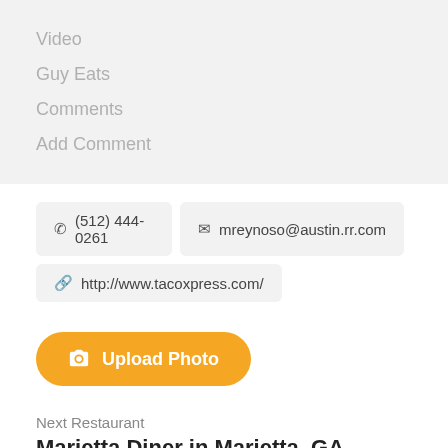Video
Guy Eats
Comments
Add Comment
(512) 444-0261
mreynoso@austin.rr.com
http://www.tacoxpress.com/
Upload Photo
Next Restaurant
Marietta Diner in Marietta, GA